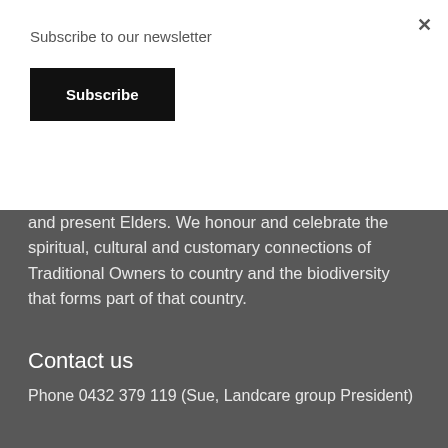Subscribe to our newsletter
Subscribe
Landcare group area and pays respect to their past and present Elders. We honour and celebrate the spiritual, cultural and customary connections of Traditional Owners to country and the biodiversity that forms part of that country.
Contact us
Phone 0432 379 119 (Sue, Landcare group President)